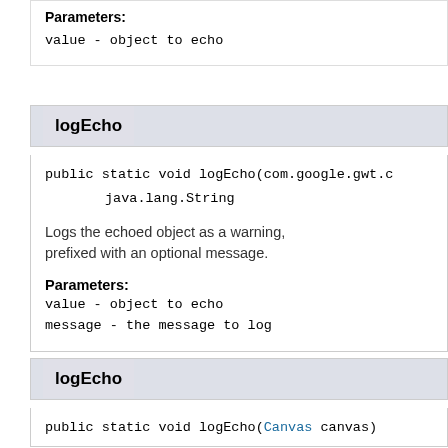Parameters:
value - object to echo
logEcho
public static void logEcho(com.google.gwt.c
                           java.lang.String
Logs the echoed object as a warning, prefixed with an optional message.
Parameters:
value - object to echo
message - the message to log
logEcho
public static void logEcho(Canvas canvas)